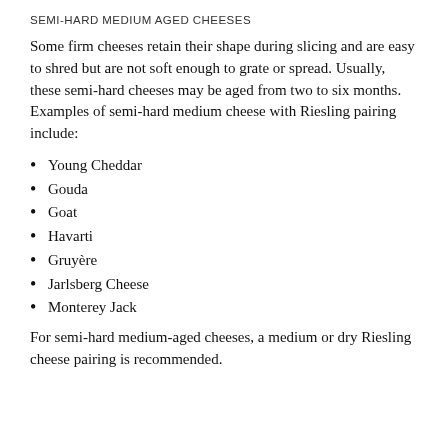Semi-Hard Medium Aged Cheeses
Some firm cheeses retain their shape during slicing and are easy to shred but are not soft enough to grate or spread. Usually, these semi-hard cheeses may be aged from two to six months. Examples of semi-hard medium cheese with Riesling pairing include:
Young Cheddar
Gouda
Goat
Havarti
Gruyère
Jarlsberg Cheese
Monterey Jack
For semi-hard medium-aged cheeses, a medium or dry Riesling cheese pairing is recommended.